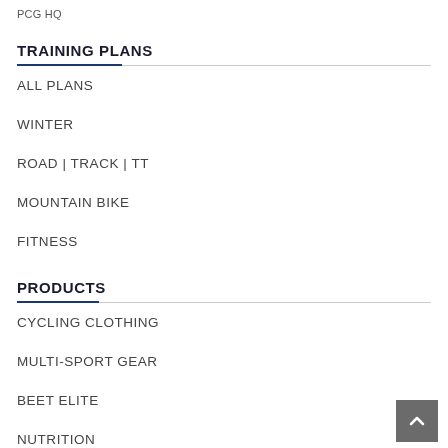PCG HQ
TRAINING PLANS
ALL PLANS
WINTER
ROAD | TRACK | TT
MOUNTAIN BIKE
FITNESS
PRODUCTS
CYCLING CLOTHING
MULTI-SPORT GEAR
BEET ELITE
NUTRITION